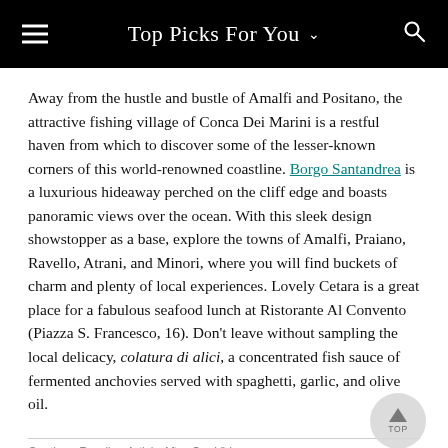Top Picks For You
Away from the hustle and bustle of Amalfi and Positano, the attractive fishing village of Conca Dei Marini is a restful haven from which to discover some of the lesser-known corners of this world-renowned coastline. Borgo Santandrea is a luxurious hideaway perched on the cliff edge and boasts panoramic views over the ocean. With this sleek design showstopper as a base, explore the towns of Amalfi, Praiano, Ravello, Atrani, and Minori, where you will find buckets of charm and plenty of local experiences. Lovely Cetara is a great place for a fabulous seafood lunch at Ristorante Al Convento (Piazza S. Francesco, 16). Don't leave without sampling the local delicacy, colatura di alici, a concentrated fish sauce of fermented anchovies served with spaghetti, garlic, and olive oil.
Continue Reading Article After Our Video